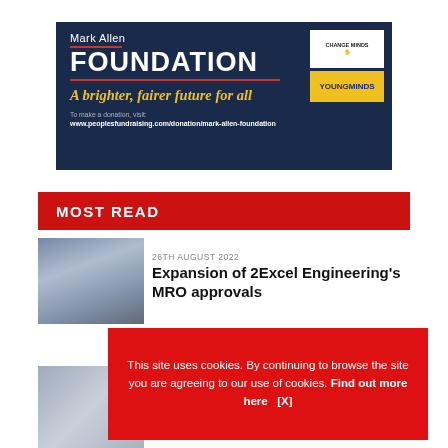[Figure (illustration): Mark Allen Foundation advertisement banner with dark navy background. Shows 'Mark Allen FOUNDATION' text with red underline, tagline 'A brighter, fairer future for all' in yellow italic, donation URL, and two logos (YoungMinds) in top right.]
MOST READ
[Figure (photo): Aircraft and people on tarmac thumbnail image]
26TH AUGUST 2022
Expansion of 2Excel Engineering's MRO approvals
[Figure (photo): Second article thumbnail image]
This site uses cookies. By continuing to browse the site you are agreeing to our use of cookies. Find out more here   [X]